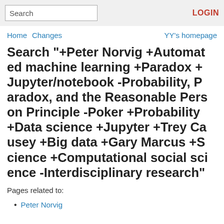Search | LOGIN
Home  Changes  YY's homepage
Search "+Peter Norvig +Automated machine learning +Paradox +Jupyter/notebook -Probability, Paradox, and the Reasonable Person Principle -Poker +Probability +Data science +Jupyter +Trey Causey +Big data +Gary Marcus +Science +Computational social science -Interdisciplinary research"
Pages related to:
Peter Norvig